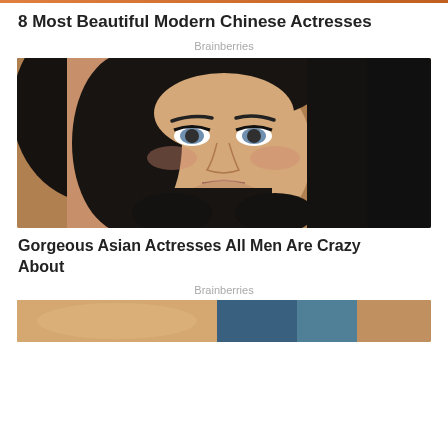8 Most Beautiful Modern Chinese Actresses
Brainberries
[Figure (photo): Close-up portrait photo of a young woman with long dark hair, blue/grey eyes, defined makeup, and light-medium skin tone against a blurred warm background]
Gorgeous Asian Actresses All Men Are Crazy About
Brainberries
[Figure (photo): Partial photo of a person, cropped at bottom of page showing warm skin tones and teal/blue colors]